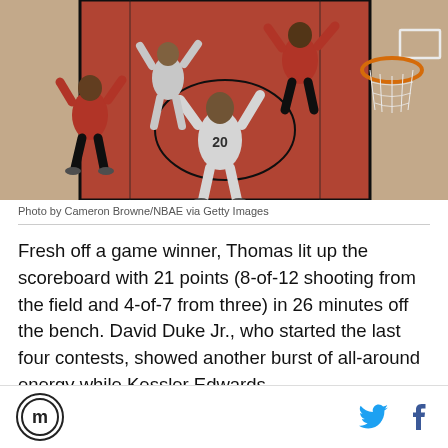[Figure (photo): Overhead view of NBA basketball game with player #20 reaching for basket, surrounded by players in red/black and white uniforms, basketball net visible on right]
Photo by Cameron Browne/NBAE via Getty Images
Fresh off a game winner, Thomas lit up the scoreboard with 21 points (8-of-12 shooting from the field and 4-of-7 from three) in 26 minutes off the bench. David Duke Jr., who started the last four contests, showed another burst of all-around energy while Kessler Edwards
[Figure (logo): Circular logo with letter M inside]
[Figure (logo): Twitter bird icon and Facebook f icon]